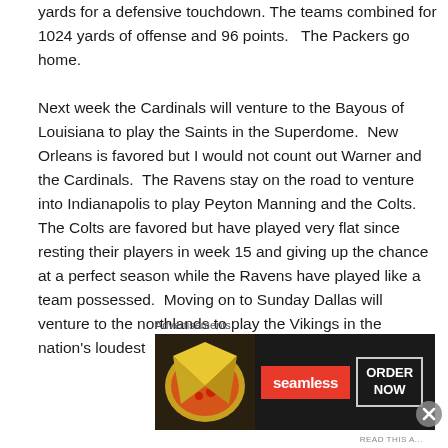yards for a defensive touchdown. The teams combined for 1024 yards of offense and 96 points.   The Packers go home.
Next week the Cardinals will venture to the Bayous of Louisiana to play the Saints in the Superdome.  New Orleans is favored but I would not count out Warner and the Cardinals.  The Ravens stay on the road to venture into Indianapolis to play Peyton Manning and the Colts.  The Colts are favored but have played very flat since resting their players in week 15 and giving up the chance at a perfect season while the Ravens have played like a team possessed.  Moving on to Sunday Dallas will venture to the northlands to play the Vikings in the nation's loudest
Advertisements
[Figure (other): Seamless food delivery advertisement banner with pizza image on left, Seamless red logo in center, and ORDER NOW button on right, on dark background]